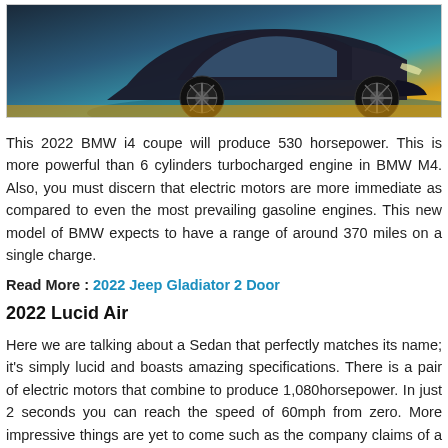[Figure (photo): Partial view of a BMW i4 coupe electric car, showing the front wheel and lower body against a teal/yellow gradient background]
This 2022 BMW i4 coupe will produce 530 horsepower. This is more powerful than 6 cylinders turbocharged engine in BMW M4. Also, you must discern that electric motors are more immediate as compared to even the most prevailing gasoline engines. This new model of BMW expects to have a range of around 370 miles on a single charge.
Read More : 2022 Jeep Gladiator 2 Door
2022 Lucid Air
Here we are talking about a Sedan that perfectly matches its name; it's simply lucid and boasts amazing specifications. There is a pair of electric motors that combine to produce 1,080horsepower. In just 2 seconds you can reach the speed of 60mph from zero. More impressive things are yet to come such as the company claims of a 517-mile range on a single